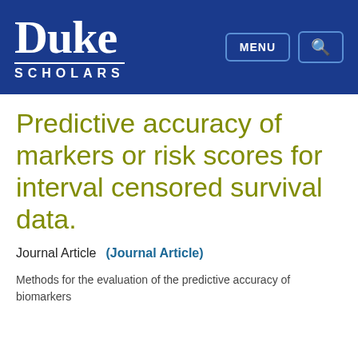Duke Scholars
Predictive accuracy of markers or risk scores for interval censored survival data.
Journal Article    (Journal Article)
Methods for the evaluation of the predictive accuracy of biomarkers